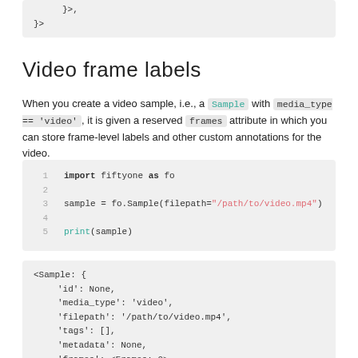}>,
}>
Video frame labels
When you create a video sample, i.e., a Sample with media_type == 'video', it is given a reserved frames attribute in which you can store frame-level labels and other custom annotations for the video.
[Figure (screenshot): Code block showing: import fiftyone as fo; sample = fo.Sample(filepath="/path/to/video.mp4"); print(sample)]
[Figure (screenshot): Output block showing Sample object with id, media_type, filepath, tags, metadata, frames fields]